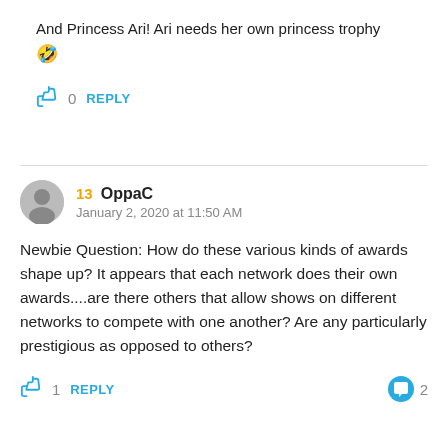And Princess Ari! Ari needs her own princess trophy 🤣
0  REPLY
13  OppaCJanuary 2, 2020 at 11:50 AM
Newbie Question: How do these various kinds of awards shape up? It appears that each network does their own awards....are there others that allow shows on different networks to compete with one another? Are any particularly prestigious as opposed to others?
1  REPLY  2